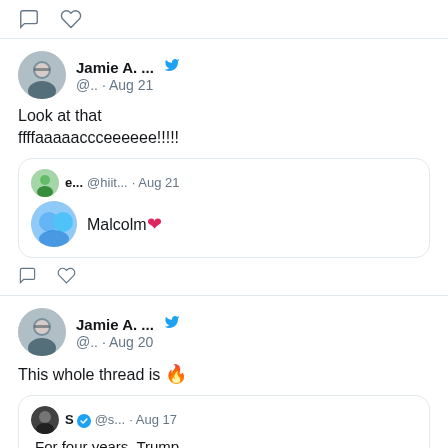[Figure (screenshot): Twitter/social media feed screenshot showing tweet interaction icons (comment and heart) at top, then two tweet posts by Jamie A. with quoted tweets]
Jamie A. ... @.. · Aug 21
Look at that ffffaaaaaccceeeeee!!!!!
e... @hiit... · Aug 21 Malcolm ❤
Jamie A. ... @.. · Aug 20
This whole thread is 🔥
S @s... · Aug 17 For four years, Trump